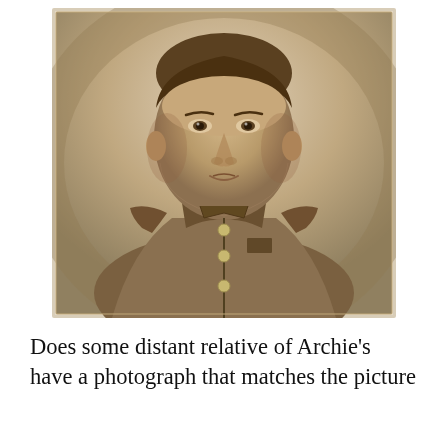[Figure (photo): Sepia-toned portrait photograph of a young man in a military uniform with buttons and epaulettes, facing forward with a neutral expression. The photo is framed with a thin border on a light background.]
Does some distant relative of Archie's have a photograph that matches the picture